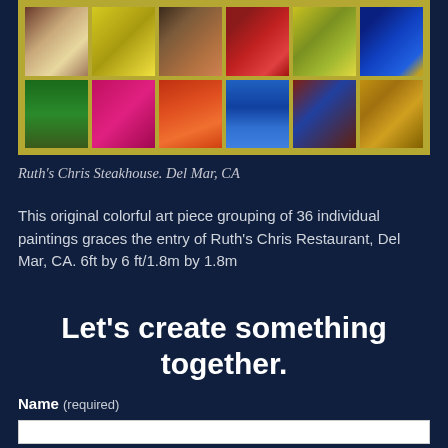[Figure (photo): Grid of 12 colorful abstract paintings on a yellow-green/gold background frame, arranged in 2 rows of 6. Paintings include textures in earth tones, yellows, reds, blues, greens, and pinks.]
Ruth's Chris Steakhouse. Del Mar, CA
This original colorful art piece grouping of 36 individual paintings graces the entry of Ruth's Chris Restaurant, Del Mar, CA. 6ft by 6 ft/1.8m by 1.8m
Let's create something together.
Name (required)